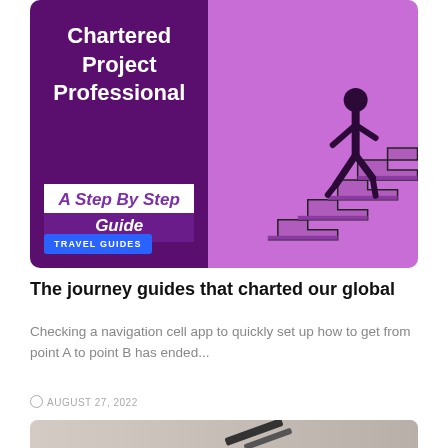[Figure (illustration): Banner image showing 'Chartered Project Professional' title on dark purple left panel, with 'A Step By Step Guide' text box overlay, a blue 'TRAVEL GUIDES' badge, and right panel showing pink/purple background with silhouette of person climbing stairs/steps]
The journey guides that charted our global
Checking a navigation cell app to quickly set up how to get from point A to point B has ended...
AUGUST 27, 2022
[Figure (photo): Partial bottom image showing what appears to be books or geometric shapes in beige/gray tones with dark diagonal stripes]